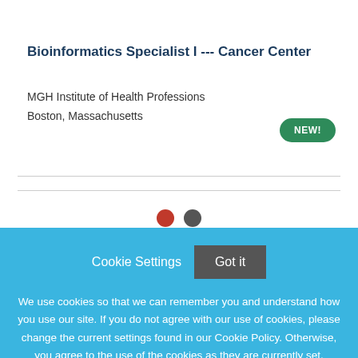Bioinformatics Specialist I --- Cancer Center
MGH Institute of Health Professions
Boston, Massachusetts
[Figure (other): Green 'NEW!' badge pill button]
Cookie Settings   Got it
We use cookies so that we can remember you and understand how you use our site. If you do not agree with our use of cookies, please change the current settings found in our Cookie Policy. Otherwise, you agree to the use of the cookies as they are currently set.